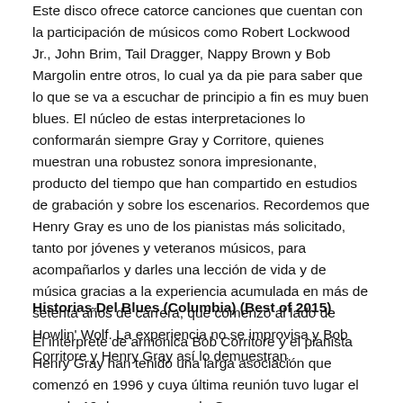Este disco ofrece catorce canciones que cuentan con la participación de músicos como Robert Lockwood Jr., John Brim, Tail Dragger, Nappy Brown y Bob Margolin entre otros, lo cual ya da pie para saber que lo que se va a escuchar de principio a fin es muy buen blues. El núcleo de estas interpretaciones lo conformarán siempre Gray y Corritore, quienes muestran una robustez sonora impresionante, producto del tiempo que han compartido en estudios de grabación y sobre los escenarios. Recordemos que Henry Gray es uno de los pianistas más solicitado, tanto por jóvenes y veteranos músicos, para acompañarlos y darles una lección de vida y de música gracias a la experiencia acumulada en más de setenta años de carrera, que comenzó al lado de Howlin' Wolf. La experiencia no se improvisa y Bob Corritore y Henry Gray así lo demuestran.
Historias Del Blues (Columbia) (Best of 2015)
El intérprete de armónica Bob Corritore y el pianista Henry Gray han tenido una larga asociación que comenzó en 1996 y cuya última reunión tuvo lugar el pasado 19 de enero, cuando Gray